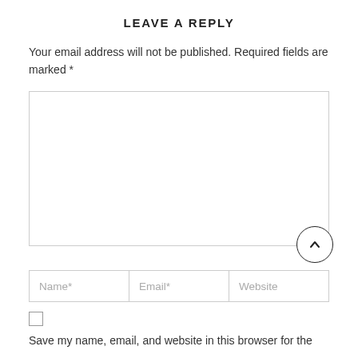LEAVE A REPLY
Your email address will not be published. Required fields are marked *
[Figure (screenshot): Large empty comment textarea input box with a resize handle at bottom right and a circular scroll-up button overlapping the bottom-right corner]
[Figure (screenshot): Three inline input fields labeled Name*, Email*, and Website]
[Figure (screenshot): Unchecked checkbox]
Save my name, email, and website in this browser for the